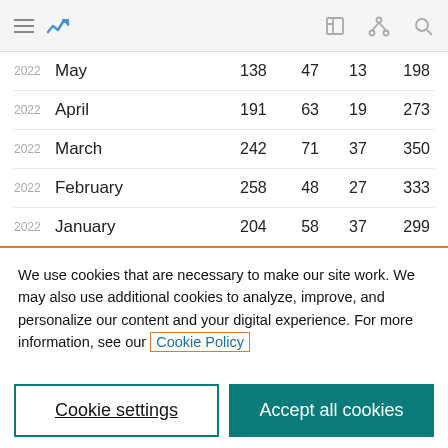Navigation bar with hamburger menu, analytics icon, and nav icons
| Year | Month | Col1 | Col2 | Col3 | Total |
| --- | --- | --- | --- | --- | --- |
| 2022 | May | 138 | 47 | 13 | 198 |
| 2022 | April | 191 | 63 | 19 | 273 |
| 2022 | March | 242 | 71 | 37 | 350 |
| 2022 | February | 258 | 48 | 27 | 333 |
| 2022 | January | 204 | 58 | 37 | 299 |
We use cookies that are necessary to make our site work. We may also use additional cookies to analyze, improve, and personalize our content and your digital experience. For more information, see our Cookie Policy
Cookie settings
Accept all cookies